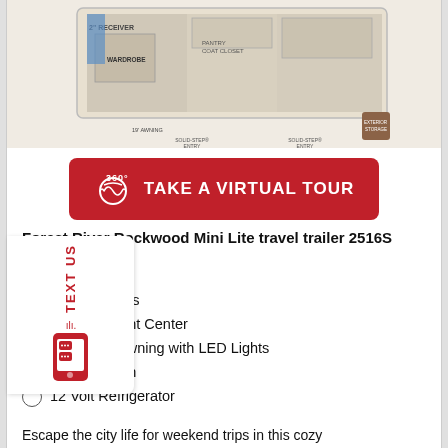[Figure (schematic): Floor plan diagram of Forest River Rockwood Mini Lite travel trailer 2516S showing wardrobe, kitchen with micro, solid-step entries, 19' awning, exterior storage, and other interior layout features.]
[Figure (other): Red '360° TAKE A VIRTUAL TOUR' button with 360 icon]
Forest River Rockwood Mini Lite travel trailer 2516S highlights:
Double Slides
Entertainment Center
19' Power Awning with LED Lights
Front Kitchen
12 Volt Refrigerator
Escape the city life for weekend trips in this cozy